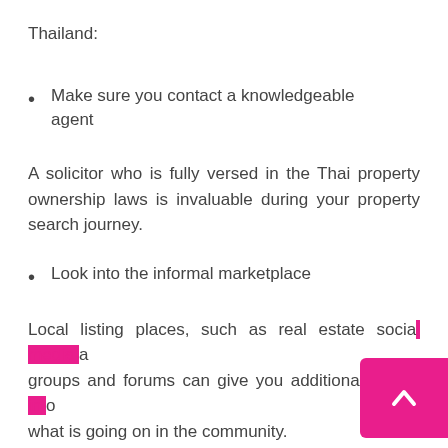Thailand:
Make sure you contact a knowledgeable agent
A solicitor who is fully versed in the Thai property ownership laws is invaluable during your property search journey.
Look into the informal marketplace
Local listing places, such as real estate social media groups and forums can give you additional insight into what is going on in the community.